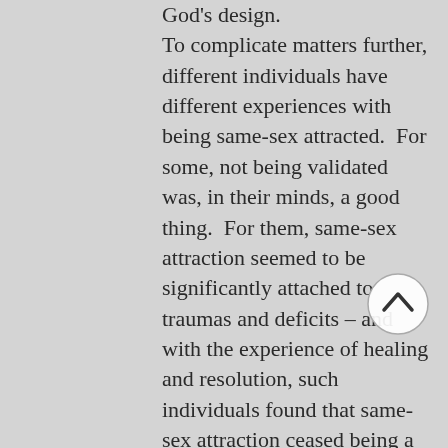God's design. To complicate matters further, different individuals have different experiences with being same-sex attracted. For some, not being validated was, in their minds, a good thing. For them, same-sex attraction seemed to be significantly attached to traumas and deficits – and with the experience of healing and resolution, such individuals found that same-sex attraction ceased being a dominant factor in their sense of self. For others, however, lack of acknowledgement and space to express honestly their sense of personhood as intimately connected with their experience of same-sex orientation caused great harm. Some